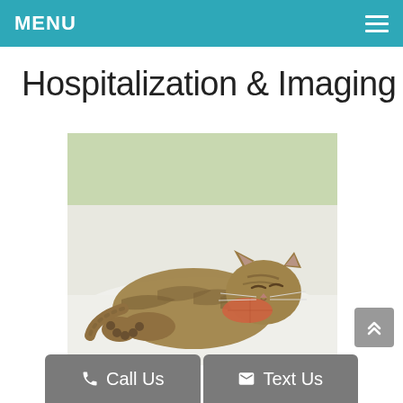MENU
Hospitalization & Imaging
[Figure (photo): A tabby kitten sleeping on a white surface with a small red/orange pillow, green background]
Call Us
Text Us